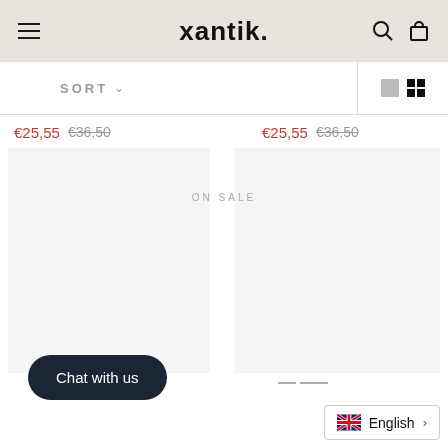xantik.
SORT
€25,55  €36,50  €25,55  €36,50
ON SALE
[Figure (photo): Two product image placeholders (left and right columns) with sale badges, partially visible]
Chat with us
English